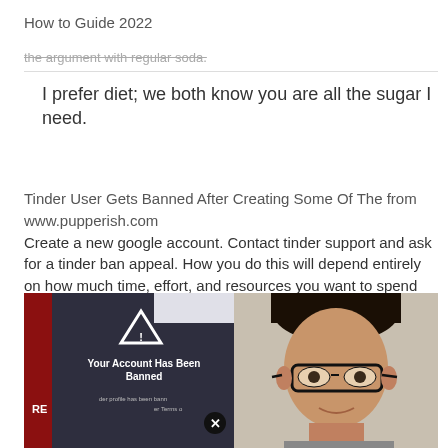How to Guide 2022
the argument with regular soda.
I prefer diet; we both know you are all the sugar I need.
Tinder User Gets Banned After Creating Some Of The from www.pupperish.com
Create a new google account. Contact tinder support and ask for a tinder ban appeal. How you do this will depend entirely on how much time, effort, and resources you want to spend on getting your profile back.
[Figure (photo): Split image showing a phone screen with 'Your Account Has Been Banned' Tinder warning on the left, and a young person with glasses on the right.]